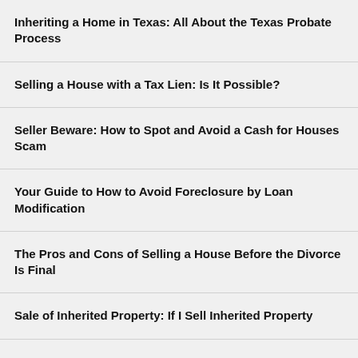Inheriting a Home in Texas: All About the Texas Probate Process
Selling a House with a Tax Lien: Is It Possible?
Seller Beware: How to Spot and Avoid a Cash for Houses Scam
Your Guide to How to Avoid Foreclosure by Loan Modification
The Pros and Cons of Selling a House Before the Divorce Is Final
Sale of Inherited Property: If I Sell Inherited Property